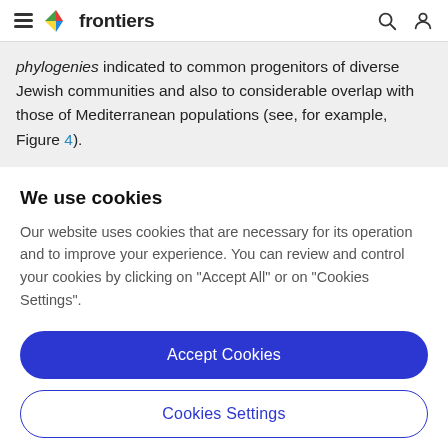frontiers
phylogenies indicated to common progenitors of diverse Jewish communities and also to considerable overlap with those of Mediterranean populations (see, for example, Figure 4).
We use cookies
Our website uses cookies that are necessary for its operation and to improve your experience. You can review and control your cookies by clicking on "Accept All" or on "Cookies Settings".
Accept Cookies
Cookies Settings